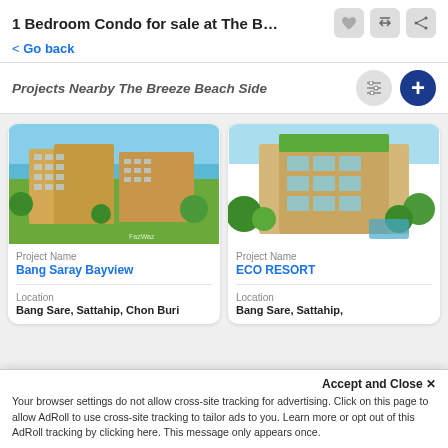1 Bedroom Condo for sale at The Breeze...
< Go back
Projects Nearby The Breeze Beach Side
[Figure (photo): Aerial rendering of Bang Saray Bayview condo building with ocean view and landscaping, watermarked FazWaz]
Project Name
Bang Saray Bayview
Location
Bang Sare, Sattahip, Chon Buri
[Figure (photo): Aerial rendering of ECO RESORT building with green rooftop and surrounding trees]
Project Name
ECO RESORT
Location
Bang Sare, Sattahip,
Accept and Close ✕
Your browser settings do not allow cross-site tracking for advertising. Click on this page to allow AdRoll to use cross-site tracking to tailor ads to you. Learn more or opt out of this AdRoll tracking by clicking here. This message only appears once.